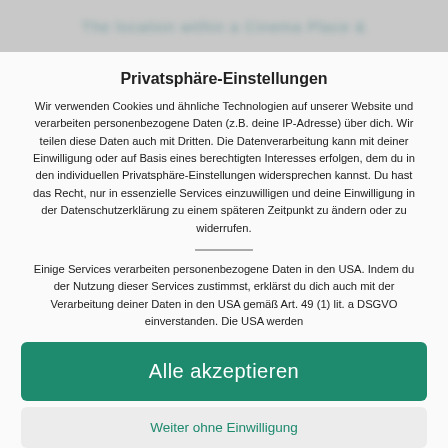The location within a Cinema Place &
Privatsphäre-Einstellungen
Wir verwenden Cookies und ähnliche Technologien auf unserer Website und verarbeiten personenbezogene Daten (z.B. deine IP-Adresse) über dich. Wir teilen diese Daten auch mit Dritten. Die Datenverarbeitung kann mit deiner Einwilligung oder auf Basis eines berechtigten Interesses erfolgen, dem du in den individuellen Privatsphäre-Einstellungen widersprechen kannst. Du hast das Recht, nur in essenzielle Services einzuwilligen und deine Einwilligung in der Datenschutzerklärung zu einem späteren Zeitpunkt zu ändern oder zu widerrufen.
Einige Services verarbeiten personenbezogene Daten in den USA. Indem du der Nutzung dieser Services zustimmst, erklärst du dich auch mit der Verarbeitung deiner Daten in den USA gemäß Art. 49 (1) lit. a DSGVO einverstanden. Die USA werden
Alle akzeptieren
Weiter ohne Einwilligung
Individuelle Privatsphäre-Einstellungen
Datenschutzerklärung • Impressum